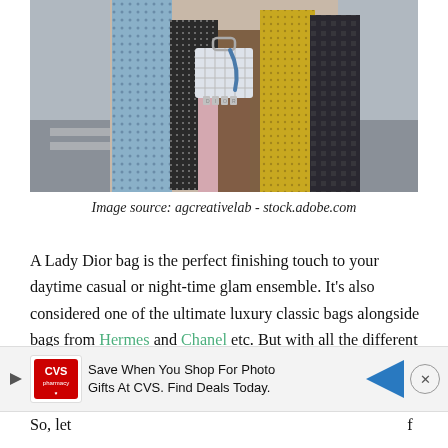[Figure (photo): Woman holding a small Lady Dior handbag, wearing a patchwork/mixed print coat with multiple fabric panels in various colors and patterns]
Image source: agcreativelab - stock.adobe.com
A Lady Dior bag is the perfect finishing touch to your daytime casual or night-time glam ensemble. It's also considered one of the ultimate luxury classic bags alongside bags from Hermes and Chanel etc. But with all the different Lady Dior sizes and colors available, it can be hard to pin down exactly which bag is right for you.
So, let ... f the